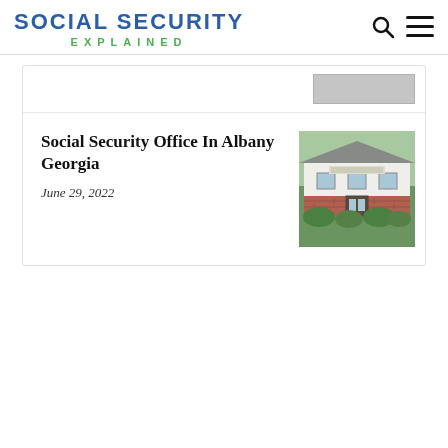SOCIAL SECURITY EXPLAINED
[Figure (photo): Partial image of a building or item, cropped at top of card]
Social Security Office In Albany Georgia
June 29, 2022
[Figure (photo): Photo of a Social Security office building in Albany, Georgia — a one-story brick and white building with a grey roof, green shrubbery in front]